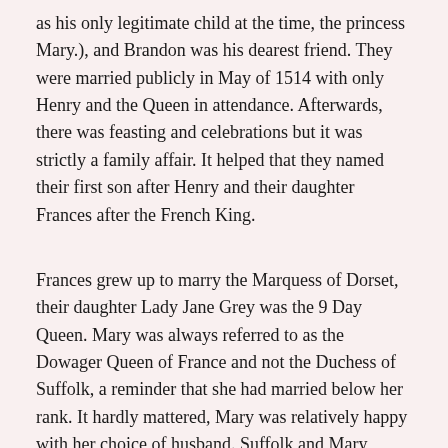as his only legitimate child at the time, the princess Mary.), and Brandon was his dearest friend. They were married publicly in May of 1514 with only Henry and the Queen in attendance. Afterwards, there was feasting and celebrations but it was strictly a family affair. It helped that they named their first son after Henry and their daughter Frances after the French King.
Frances grew up to marry the Marquess of Dorset, their daughter Lady Jane Grey was the 9 Day Queen. Mary was always referred to as the Dowager Queen of France and not the Duchess of Suffolk, a reminder that she had married below her rank. It hardly mattered, Mary was relatively happy with her choice of husband. Suffolk and Mary attended all the major court celebrations, including the famous Field of Cloth of Gold near Calais in 1520, where Mary was considered the most beautiful woman there. Whenever the Queen was ill, Mary